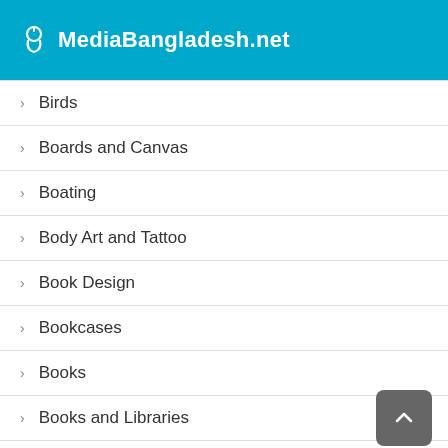MediaBangladesh.net
Birds
Boards and Canvas
Boating
Body Art and Tattoo
Book Design
Bookcases
Books
Books and Libraries
Books and Reading